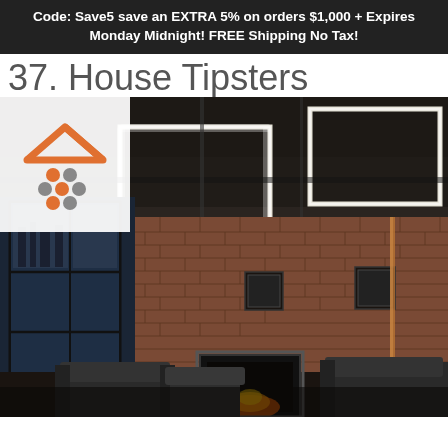Code: Save5 save an EXTRA 5% on orders $1,000 + Expires Monday Midnight! FREE Shipping No Tax!
37. House Tipsters
[Figure (photo): Interior room photo showing a modern industrial space with rectangular LED light frames on a dark ceiling, exposed brick walls, large windows, leather chairs, and a fireplace. A House Tipsters logo (orange house outline with colored dots) is overlaid in the top-left corner.]